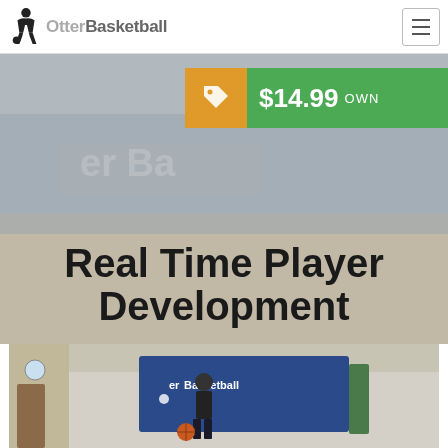OtterBasketball
$14.99 OWN
Real Time Player Development
[Figure (photo): Basketball player dribbling in a gym with an Otter Basketball banner in the background]